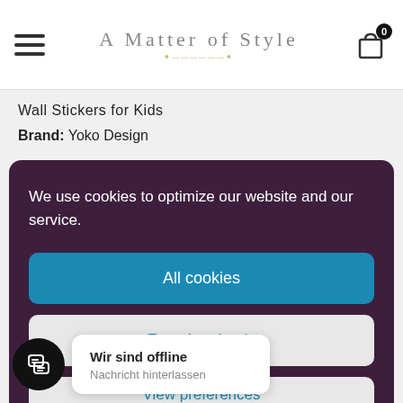[Figure (screenshot): Website header with hamburger menu, 'A Matter of Style' logo with decorative underline, and shopping cart icon with badge showing 0]
Wall Stickers for Kids
Brand: Yoko Design
We use cookies to optimize our website and our service.
All cookies
Functional only
View preferences
Wir sind offline
Nachricht hinterlassen